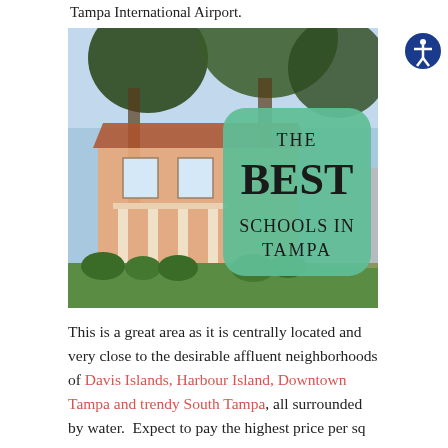Tampa International Airport.
[Figure (photo): A large Mediterranean-style home with columns and tile roof, surrounded by trees and lawn, with an overlaid green rounded-rectangle badge reading 'THE BEST SCHOOLS IN TAMPA']
This is a great area as it is centrally located and very close to the desirable affluent neighborhoods of Davis Islands, Harbour Island, Downtown Tampa and trendy South Tampa, all surrounded by water.  Expect to pay the highest price per sq